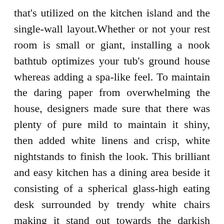that's utilized on the kitchen island and the single-wall layout.Whether or not your rest room is small or giant, installing a nook bathtub optimizes your tub's ground house whereas adding a spa-like feel. To maintain the daring paper from overwhelming the house, designers made sure that there was plenty of pure mild to maintain it shiny, then added white linens and crisp, white nightstands to finish the look. This brilliant and easy kitchen has a dining area beside it consisting of a spherical glass-high eating desk surrounded by trendy white chairs making it stand out towards the darkish hardwood flooring.Clean walls can pose a frightening design dilemma, particularly when you're attempting to stick to a budget. The exposed brick walls add an undone, laid-back really feel to this kitchen. IF FOR ANY PURPOSE A DISPUTE PROCEEDS IN COURTROOM SLIGHTLY THAN BY WAY OF ARBITRATION, YOU AND